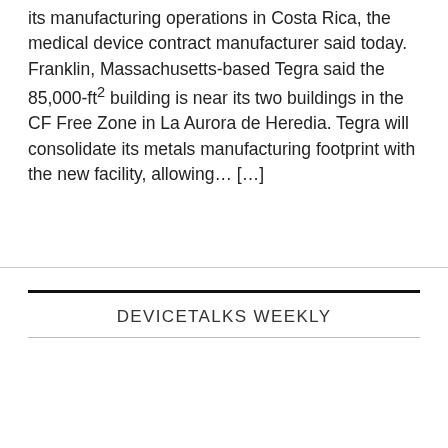its manufacturing operations in Costa Rica, the medical device contract manufacturer said today. Franklin, Massachusetts-based Tegra said the 85,000-ft² building is near its two buildings in the CF Free Zone in La Aurora de Heredia. Tegra will consolidate its metals manufacturing footprint with the new facility, allowing… […]
DEVICETALKS WEEKLY